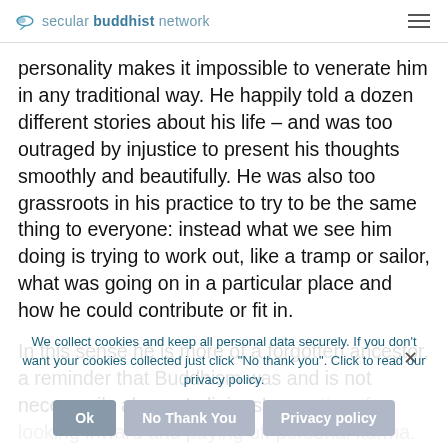secular buddhist network
personality makes it impossible to venerate him in any traditional way. He happily told a dozen different stories about his life – and was too outraged by injustice to present his thoughts smoothly and beautifully. He was also too grassroots in his practice to try to be the same thing to everyone: instead what we see him doing is trying to work out, like a tramp or sailor, what was going on in a particular place and how he could contribute or fit in.
In this sense he is more of a forgotten ancestor, a reminder that Buddhism was and is not necessarily always 'religious', a ma... theologians – and does not necessarily mean colluding with power, or ignoring injustice. We might even (a shocking thought) dis... d...rs for ourselves. There is no simple model in his life to adopt...
We collect cookies and keep all personal data securely. If you don't want your cookies collected just click "No thank you". Click to read our privacy policy.